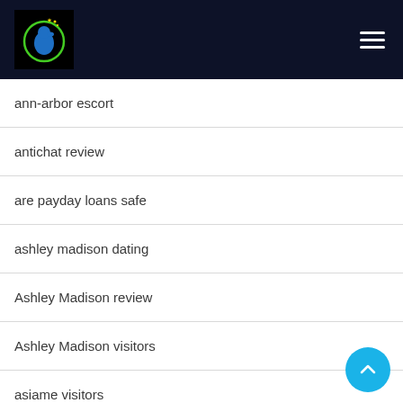[Figure (logo): Website logo with blue bird/dog figure inside a green circle on a dark background, with hamburger menu icon on the right]
ann-arbor escort
antichat review
are payday loans safe
ashley madison dating
Ashley Madison review
Ashley Madison visitors
asiame visitors